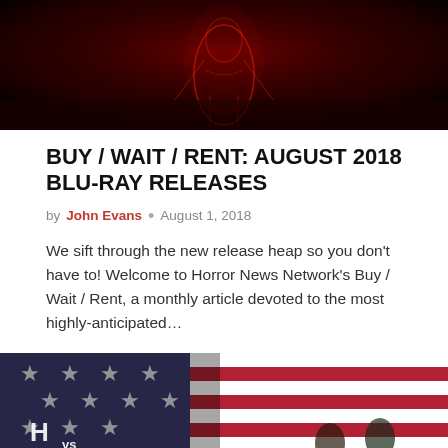[Figure (photo): Dark red horror-themed image with glowing figure silhouette]
BUY / WAIT / RENT: AUGUST 2018 BLU-RAY RELEASES
by John Evans • August 1, 2018
We sift through the new release heap so you don't have to! Welcome to Horror News Network's Buy / Wait / Rent, a monthly article devoted to the most highly-anticipated…
[Figure (photo): Ash vs Evil Dead promotional image with American flag background and show logo]